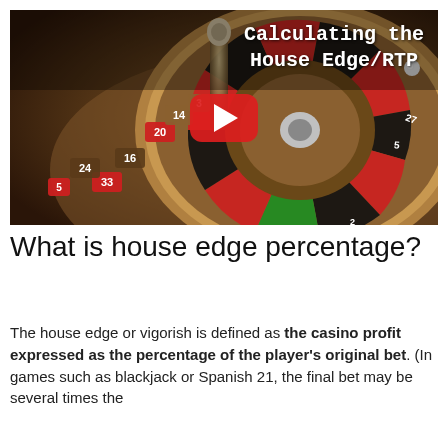[Figure (screenshot): YouTube video thumbnail showing a roulette wheel with text 'Calculating the House Edge/RTP' and a red play button overlay]
What is house edge percentage?
The house edge or vigorish is defined as the casino profit expressed as the percentage of the player's original bet. (In games such as blackjack or Spanish 21, the final bet may be several times the